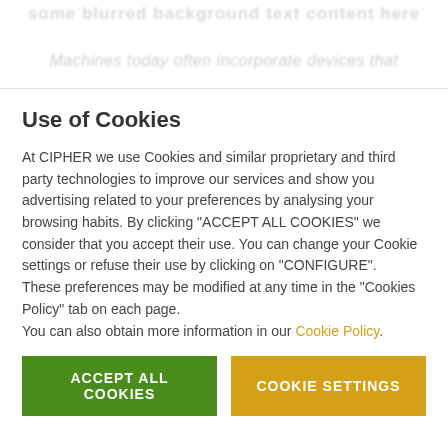Machines today often incorporate devices that
Use of Cookies
At CIPHER we use Cookies and similar proprietary and third party technologies to improve our services and show you advertising related to your preferences by analysing your browsing habits. By clicking "ACCEPT ALL COOKIES" we consider that you accept their use. You can change your Cookie settings or refuse their use by clicking on "CONFIGURE".
These preferences may be modified at any time in the "Cookies Policy" tab on each page.
You can also obtain more information in our Cookie Policy.
ACCEPT ALL COOKIES
COOKIE SETTINGS